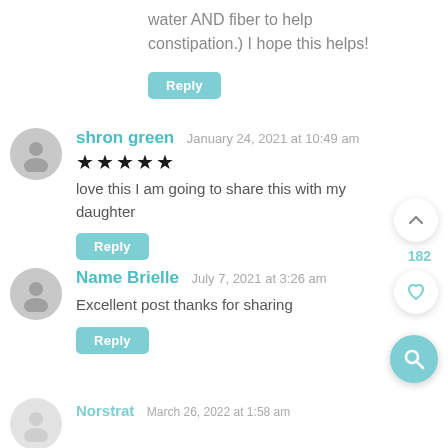water AND fiber to help constipation.) I hope this helps!
Reply
shron green  January 24, 2021 at 10:49 am
★★★★★
love this I am going to share this with my daughter
Reply
182
Name Brielle  July 7, 2021 at 3:26 am
Excellent post thanks for sharing
Reply
Norstrat  March 26, 2022 at 1:58 am